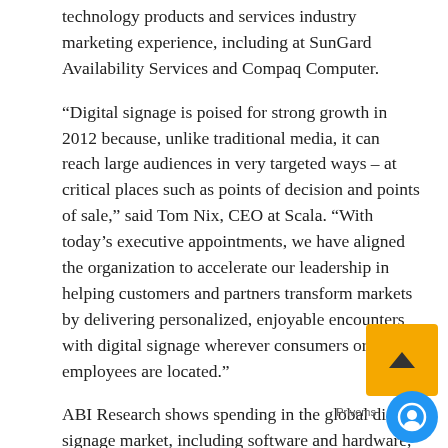technology products and services industry marketing experience, including at SunGard Availability Services and Compaq Computer.
“Digital signage is poised for strong growth in 2012 because, unlike traditional media, it can reach large audiences in very targeted ways – at critical places such as points of decision and points of sale,” said Tom Nix, CEO at Scala. “With today’s executive appointments, we have aligned the organization to accelerate our leadership in helping customers and partners transform markets by delivering personalized, enjoyable encounters with digital signage wherever consumers or employees are located.”
ABI Research shows spending in the global digital signage market, including software and hardware, is expected to grow from $1.3 billion in 2010 to $4.5 billion by 2016. Intel projects there will be 22 million digital signs deployed worldwide by 2015.
Scala’s digital signage software makes it easy to develop